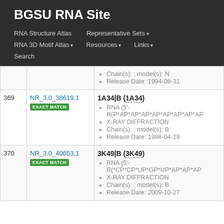BGSU RNA Site
RNA Structure Atlas | Representative Sets | RNA 3D Motif Atlas | Resources | Links | Search
| # | ID | Details |
| --- | --- | --- |
|  |  | Chain(s): ; model(s): N
Release Date: 1994-08-31 |
| 369 | NR_3.0_38619.1
EXACT MATCH | 1A34|B (1A34)
RNA (5'-R(P*AP*AP*AP*AP*AP*AP*AP*AP
X-RAY DIFFRACTION
Chain(s): ; model(s): B
Release Date: 1998-04-29 |
| 370 | NR_3.0_40653.1
EXACT MATCH | 3K49|B (3K49)
RNA (5'-R(*CP*CP*UP*GP*UP*AP*AP*AP
X-RAY DIFFRACTION
Chain(s): ; model(s): B
Release Date: 2009-10-27 |